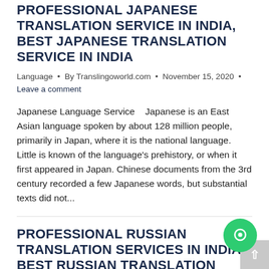PROFESSIONAL JAPANESE TRANSLATION SERVICE IN INDIA, BEST JAPANESE TRANSLATION SERVICE IN INDIA
Language • By Translingoworld.com • November 15, 2020 • Leave a comment
Japanese Language Service   Japanese is an East Asian language spoken by about 128 million people, primarily in Japan, where it is the national language. Little is known of the language's prehistory, or when it first appeared in Japan. Chinese documents from the 3rd century recorded a few Japanese words, but substantial texts did not...
PROFESSIONAL RUSSIAN TRANSLATION SERVICES IN INDIA, BEST RUSSIAN TRANSLATION SERVICE IN INDIA
Language • By Translingoworld.com • November 15, 2020 • Leave a comment
We, the Translingo World Private limited, are the best